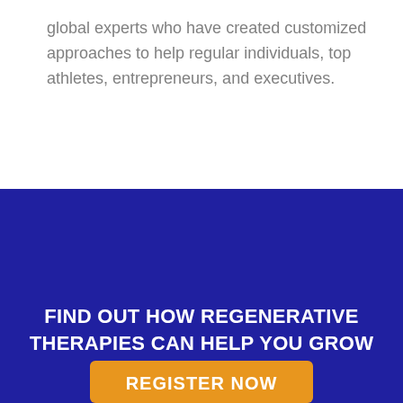global experts who have created customized approaches to help regular individuals, top athletes, entrepreneurs, and executives.
FIND OUT HOW REGENERATIVE THERAPIES CAN HELP YOU GROW YOUR PRACTICE
REGISTER NOW